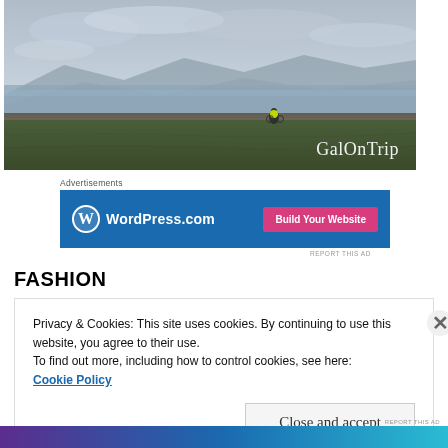[Figure (photo): Landscape photo of a cyclist on a flat grassy plain near a body of water with mountains in the background under a cloudy sky. White text 'GalOnTrip' in the bottom-right corner.]
Advertisements
[Figure (other): WordPress.com advertisement banner with blue background, WordPress logo and text 'WordPress.com' on the left, and a pink 'Build Your Website' button on the right.]
REPORT THIS AD
FASHION
Privacy & Cookies: This site uses cookies. By continuing to use this website, you agree to their use.
To find out more, including how to control cookies, see here:
Cookie Policy
Close and accept